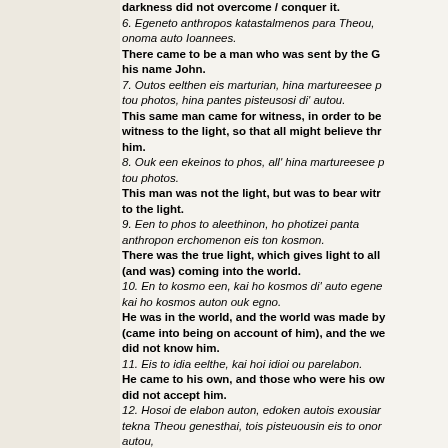darkness did not overcome / conquer it.
6. Egeneto anthropos katastalmenos para Theou, onoma auto Ioannees.
There came to be a man who was sent by the G his name John.
7. Outos eelthen eis marturian, hina martureesee p tou photos, hina pantes pisteusosi di' autou.
This same man came for witness, in order to be witness to the light, so that all might believe thr him.
8. Ouk een ekeinos to phos, all' hina martureesee p tou photos.
This man was not the light, but was to bear witr to the light.
9. Een to phos to aleethinon, ho photizei panta anthropon erchomenon eis ton kosmon.
There was the true light, which gives light to all (and was) coming into the world.
10. En to kosmo een, kai ho kosmos di' auto egene kai ho kosmos auton ouk egno.
He was in the world, and the world was made by (came into being on account of him), and the we did not know him.
11. Eis to idia eelthe, kai hoi idioi ou parelabon.
He came to his own, and those who were his ow did not accept him.
12. Hosoi de elabon auton, edoken autois exousiar tekna Theou genesthai, tois pisteuousin eis to onor autou,
Those who accepted him, he gave to them the